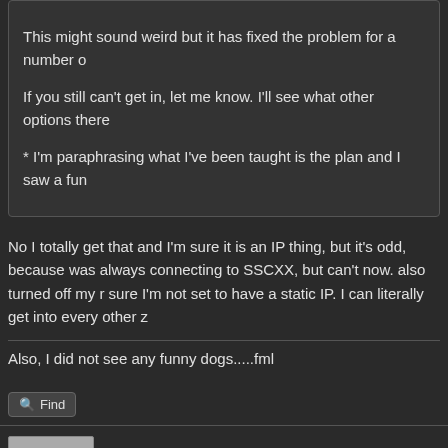This might sound weird but it has fixed the problem for a number o
If you still can't get in, let me know. I'll see what other options there
* I'm paraphrasing what I've been taught is the plan and I saw a fun
No I totally get that and I'm sure it is an IP thing, but it's odd, because was always connecting to SSCXX, but can't now. also turned off my r sure I'm not set to have a static IP. I can literally get into every other z
Also, I did not see any funny dogs.....fml
Find
Tidal
Terrier
05-08-2015, 05:30 AM
Tidal Wrote: